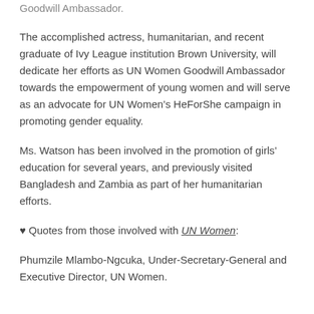Goodwill Ambassador.
The accomplished actress, humanitarian, and recent graduate of Ivy League institution Brown University, will dedicate her efforts as UN Women Goodwill Ambassador towards the empowerment of young women and will serve as an advocate for UN Women’s HeForShe campaign in promoting gender equality.
Ms. Watson has been involved in the promotion of girls’ education for several years, and previously visited Bangladesh and Zambia as part of her humanitarian efforts.
♥ Quotes from those involved with UN Women:
Phumzile Mlambo-Ngcuka, Under-Secretary-General and Executive Director, UN Women.